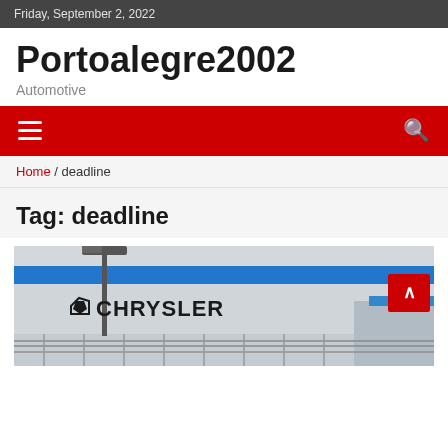Friday, September 2, 2022
Portoalegre2002
Automotive
Home / deadline
Tag: deadline
[Figure (photo): Chrysler building facade with blue horizontal stripe, street light pole, barbed wire fence, and Chrysler logo and text sign. A red back-to-top button overlays the top-right corner.]